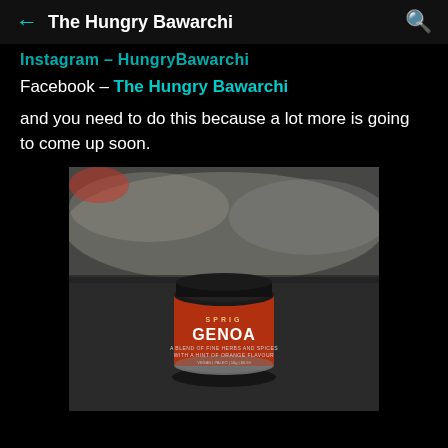The Hungry Bawarchi
Instagram – HungryBawarchi
Facebook – The Hungry Bawarchi
and you need to do this because a lot more is going to come up soon.
[Figure (photo): A small round tin of Sprig Genoa spice blend with a red label and black lid, sitting on a dark grey cloth surface with a blurred grey background.]